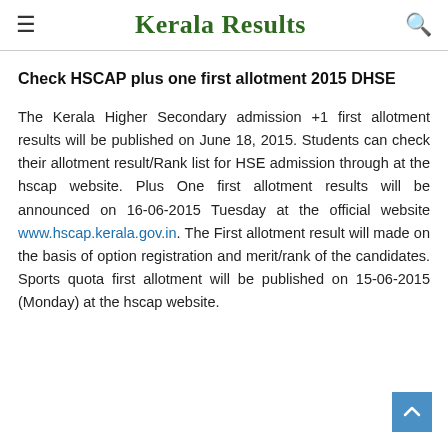Kerala Results
Check HSCAP plus one first allotment 2015 DHSE
The Kerala Higher Secondary admission +1 first allotment results will be published on June 18, 2015. Students can check their allotment result/Rank list for HSE admission through at the hscap website. Plus One first allotment results will be announced on 16-06-2015 Tuesday at the official website www.hscap.kerala.gov.in. The First allotment result will made on the basis of option registration and merit/rank of the candidates. Sports quota first allotment will be published on 15-06-2015 (Monday) at the hscap website.